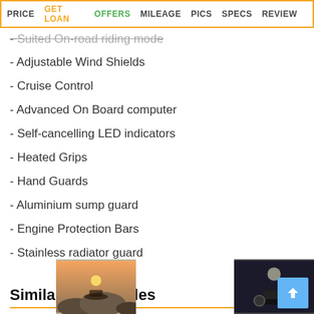PRICE | GET LOAN | OFFERS | MILEAGE | PICS | SPECS | REVIEW
- Suited On-road riding mode
- Adjustable Wind Shields
- Cruise Control
- Advanced On Board computer
- Self-cancelling LED indicators
- Heated Grips
- Hand Guards
- Aluminium sump guard
- Engine Protection Bars
- Stainless radiator guard
Similar Motorcycles
[Figure (photo): Motorcycle on rocky terrain at sunset]
[Figure (photo): Motorcycle in dark/night setting]